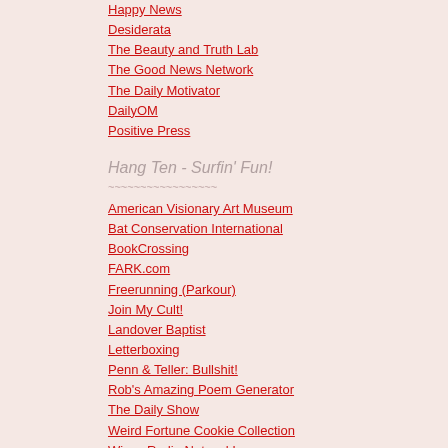Happy News
Desiderata
The Beauty and Truth Lab
The Good News Network
The Daily Motivator
DailyOM
Positive Press
Hang Ten - Surfin' Fun!
American Visionary Art Museum
Bat Conservation International
BookCrossing
FARK.com
Freerunning (Parkour)
Join My Cult!
Landover Baptist
Letterboxing
Penn & Teller: Bullshit!
Rob's Amazing Poem Generator
The Daily Show
Weird Fortune Cookie Collection
Wicca Radio Network!
Wild Divine
Blog powered by Typepad
The law's opponents claim activists to get the state's d they're trotting out the old against the will of the peop
Here's the thing.
Continue reading "Maine vote
Posted by The Mad Hathor on J State, Domestic Politics | Perma